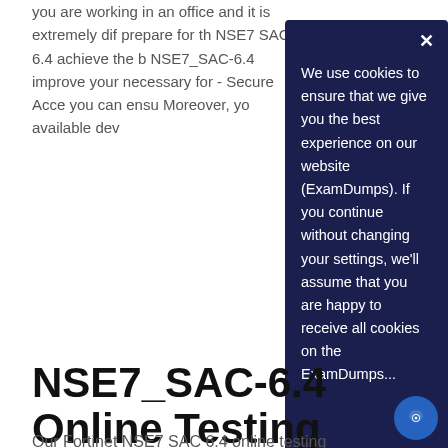you are working in an office and it is extremely dif... prepare for th... NSE7 SAC 6.4... achieve the b... NSE7_SAC-6.4... improve your... necessary for... - Secure Acce... you can ensu... Moreover, yo... available dev...
We use cookies to ensure that we give you the best experience on our website (ExamDumps). If you continue without changing your settings, we'll assume that you are happy to receive all cookies on the ExamDumps...
NSE7_SAC-6.4 Online Testing Engine
Our Fortinet NSE7 SAC 6.4 online testing